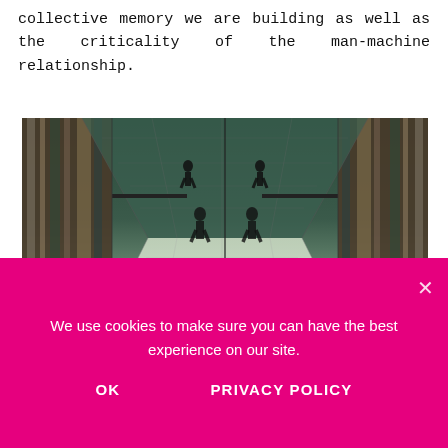collective memory we are building as well as the criticality of the man-machine relationship.
[Figure (photo): A mirrored interior architectural space with a reflective floor. Silhouettes of people are visible both standing and reflected below, amid vertical striped walls of glass and metal with teal and orange tones.]
We use cookies to make sure you can have the best experience on our site.
OK     PRIVACY POLICY